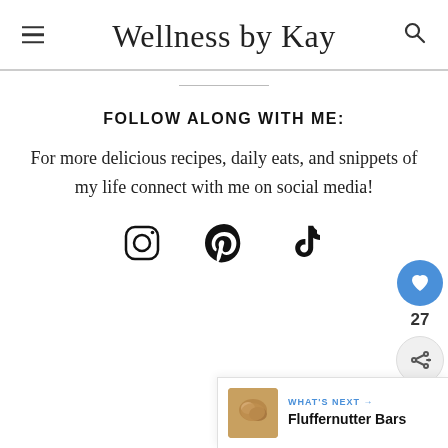Wellness by Kay
FOLLOW ALONG WITH ME:
For more delicious recipes, daily eats, and snippets of my life connect with me on social media!
[Figure (infographic): Social media icons: Instagram, Pinterest, TikTok]
WHAT'S NEXT → Fluffernutter Bars